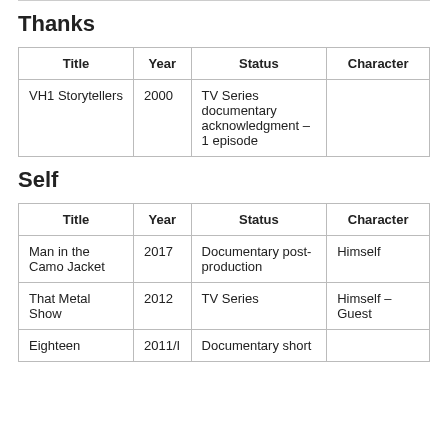Thanks
| Title | Year | Status | Character |
| --- | --- | --- | --- |
| VH1 Storytellers | 2000 | TV Series documentary acknowledgment – 1 episode |  |
Self
| Title | Year | Status | Character |
| --- | --- | --- | --- |
| Man in the Camo Jacket | 2017 | Documentary post-production | Himself |
| That Metal Show | 2012 | TV Series | Himself – Guest |
| Eighteen | 2011/I | Documentary short |  |